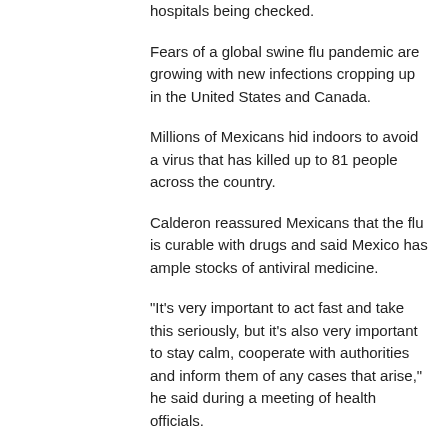hospitals being checked.
Fears of a global swine flu pandemic are growing with new infections cropping up in the United States and Canada.
Millions of Mexicans hid indoors to avoid a virus that has killed up to 81 people across the country.
Calderon reassured Mexicans that the flu is curable with drugs and said Mexico has ample stocks of antiviral medicine.
"It's very important to act fast and take this seriously, but it's also very important to stay calm, cooperate with authorities and inform them of any cases that arise," he said during a meeting of health officials.
(Reporting by Mica Rosenberg and Catherine Bremer)
-
<cite cite="http://www.alertnet.org/thenews/newsdesk/N26489623.htm">Reuters AlertNet - Most suspected flu patients in Mexico now healthy</cite>
LSL replied
April 25, 2009, 09:40 PM
Re: Mexico: Swine Flu &amp; Other Respiratory Illnesses - Including Mexico City &amp; Causes...